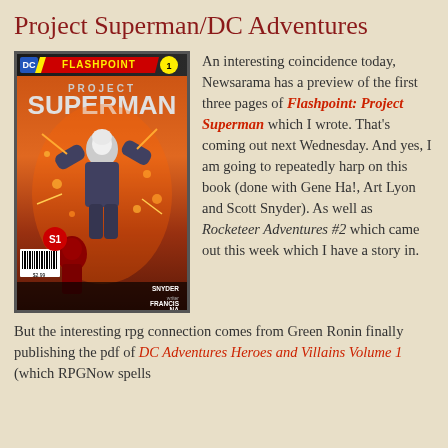Project Superman/DC Adventures
[Figure (illustration): Comic book cover for Flashpoint: Project Superman #1. Shows a muscular figure with white hair against an explosive orange background. Credits: Scott Snyder (writer), Francis (artist), Na (artist). Price $2.99.]
An interesting coincidence today, Newsarama has a preview of the first three pages of Flashpoint: Project Superman which I wrote. That's coming out next Wednesday. And yes, I am going to repeatedly harp on this book (done with Gene Ha!, Art Lyon and Scott Snyder). As well as Rocketeer Adventures #2 which came out this week which I have a story in.
But the interesting rpg connection comes from Green Ronin finally publishing the pdf of DC Adventures Heroes and Villains Volume 1 (which RPGNow spells